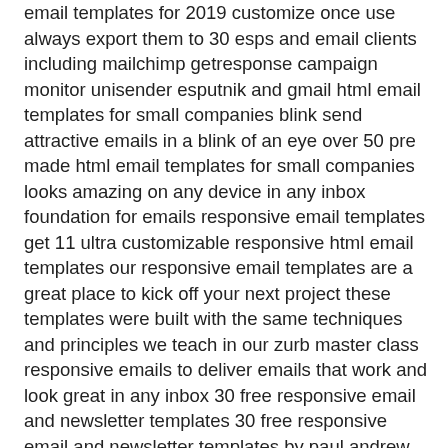email templates for 2019 customize once use always export them to 30 esps and email clients including mailchimp getresponse campaign monitor unisender esputnik and gmail html email templates for small companies blink send attractive emails in a blink of an eye over 50 pre made html email templates for small companies looks amazing on any device in any inbox foundation for emails responsive email templates get 11 ultra customizable responsive html email templates our responsive email templates are a great place to kick off your next project these templates were built with the same techniques and principles we teach in our zurb master class responsive emails to deliver emails that work and look great in any inbox 30 free responsive email and newsletter templates 30 free responsive email and newsletter templates by paul andrew on june 10th 2019 web design with almost 50 of all emails being opened on a mobile device and with that percentage expected to rise rapidly over the next few years the importance of using a responsive template for your email marketing campaigns has never been higher build a free html email template in less than 60 seconds start building your free email template now use our free template builder to create stunning html email templates in less than 60 seconds all responsive templates are optimized and mobile ready design a template from scratch with our easy drag and drop editor or work from ready made proven templates build a free